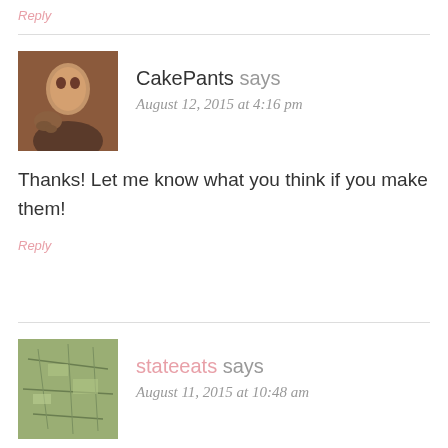Reply
CakePants says
August 12, 2015 at 4:16 pm
Thanks! Let me know what you think if you make them!
Reply
stateeats says
August 11, 2015 at 10:48 am
Pure. Dead. Brilliant. -Kat